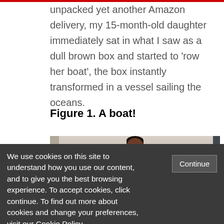unpacked yet another Amazon delivery, my 15-month-old daughter immediately sat in what I saw as a dull brown box and started to 'row her boat', the box instantly transformed in a vessel sailing the oceans.
Figure 1. A boat!
[Figure (photo): A baby/toddler in a pink outfit sitting inside a cardboard Amazon box on a tiled floor, appearing to row the box like a boat.]
We use cookies on this site to understand how you use our content, and to give you the best browsing experience. To accept cookies, click continue. To find out more about cookies and change your preferences, visit our Cookie Policy.